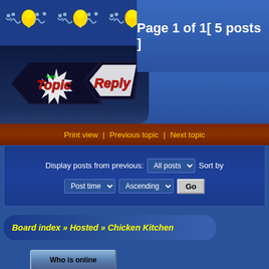[Figure (illustration): Decorative header with yellow pin/tadpole icons on blue gradient background]
Page 1 of 1[ 5 posts ]
[Figure (illustration): New Topic and Reply buttons with stylized text on dark background]
Print view | Previous topic | Next topic
Display posts from previous: All posts Sort by Post time Ascending Go
Board index » Hosted » Chicken Kitchen
Who is online